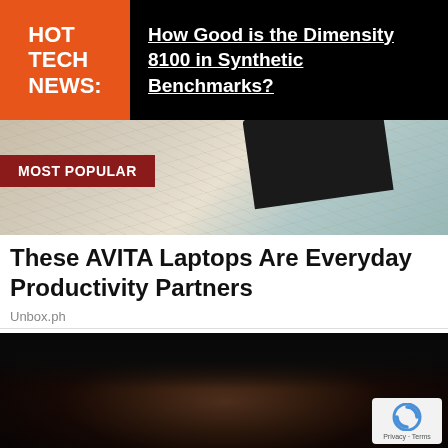HOT TECH NEWS:
How Good is the Dimensity 8100 in Synthetic Benchmarks?
[Figure (photo): Photo of a laptop on a marble surface with a 'MOST POPULAR' label overlay]
These AVITA Laptops Are Everyday Productivity Partners
Unbox.ph
[Figure (photo): Close-up photo of a person with eyes closed and hands in hair, dark background, with a reCAPTCHA badge in lower right corner showing 'Privacy - Terms']